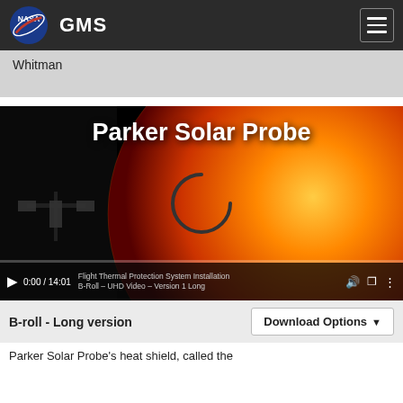NASA GMS
Whitman
[Figure (screenshot): NASA GMS website screenshot showing a video player with Parker Solar Probe title over an image of the sun. A spacecraft is visible on the left. A loading spinner (C shape) is in the center. Video controls show 0:00 / 14:01 and text 'Flight Thermal Protection System Installation B-Roll – UHD Video – Version 1 Long'.]
B-roll - Long version
Download Options
Parker Solar Probe's heat shield, called the